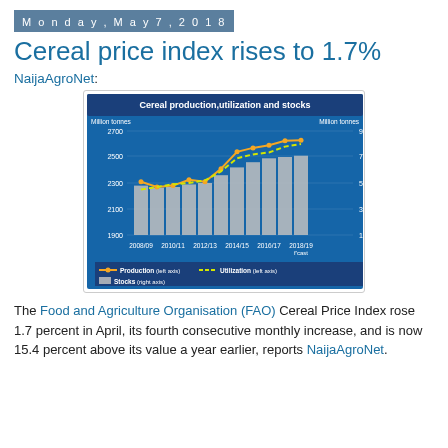Monday, May 7, 2018
Cereal price index rises to 1.7%
NaijaAgroNet:
[Figure (line-chart): Cereal production, utilization and stocks]
The Food and Agriculture Organisation (FAO) Cereal Price Index rose 1.7 percent in April, its fourth consecutive monthly increase, and is now 15.4 percent above its value a year earlier, reports NaijaAgroNet.